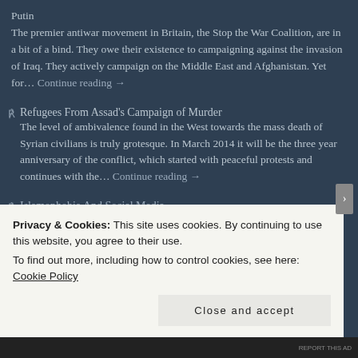Putin
The premier antiwar movement in Britain, the Stop the War Coalition, are in a bit of a bind. They owe their existence to campaigning against the invasion of Iraq. They actively campaign on the Middle East and Afghanistan. Yet for… Continue reading →
Refugees From Assad's Campaign of Murder
The level of ambivalence found in the West towards the mass death of Syrian civilians is truly grotesque. In March 2014 it will be the three year anniversary of the conflict, which started with peaceful protests and continues with the… Continue reading →
Islamophobia And Social Media
Privacy & Cookies: This site uses cookies. By continuing to use this website, you agree to their use.
To find out more, including how to control cookies, see here: Cookie Policy
Close and accept